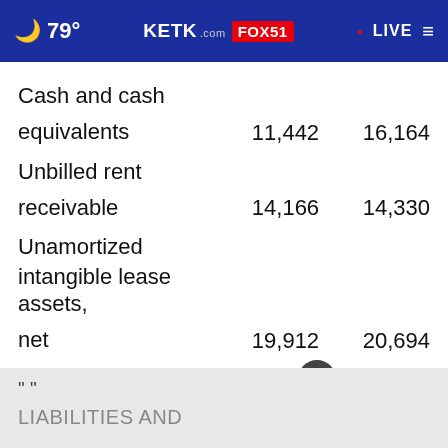79° KETK.com FOX51 • LIVE
|  | Col1 | Col2 |
| --- | --- | --- |
| Cash and cash equivalents | 11,442 | 16,164 |
| Unbilled rent receivable | 14,166 | 14,330 |
| Unamortized intangible lease assets, net | 19,912 | 20,694 |
| Other assets | 15,288 | 13,346 |
| Total assets | $ 750,129 | $ 752,953 |
" "
LIABILITIES AND